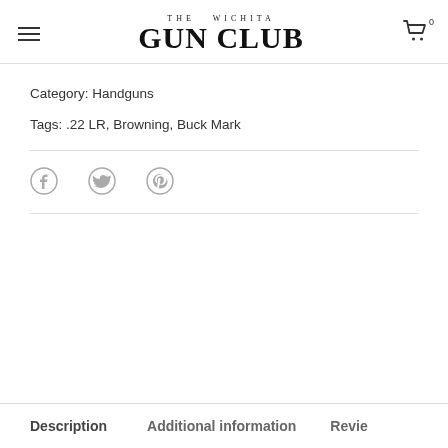THE WICHITA GUN CLUB
Category: Handguns
Tags: .22 LR, Browning, Buck Mark
[Figure (other): Social share icons: Facebook, Twitter, Pinterest]
Description
Additional information
Revie